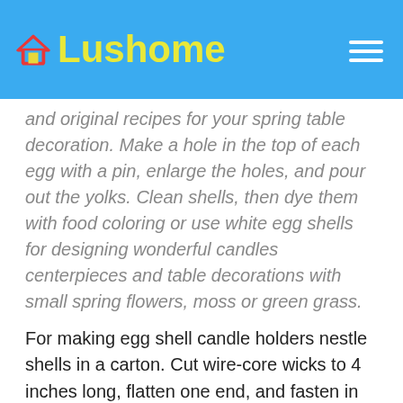Lushome
and original recipes for your spring table decoration. Make a hole in the top of each egg with a pin, enlarge the holes, and pour out the yolks. Clean shells, then dye them with food coloring or use white egg shells for designing wonderful candles centerpieces and table decorations with small spring flowers, moss or green grass.
For making egg shell candle holders nestle shells in a carton. Cut wire-core wicks to 4 inches long, flatten one end, and fasten in an egg hell with a bit of warm wax. Using a funnel, fill egg shells with hot wax. Let the wax cool. Trim the wicks, and create an attractive arrangement for spring table decoration.